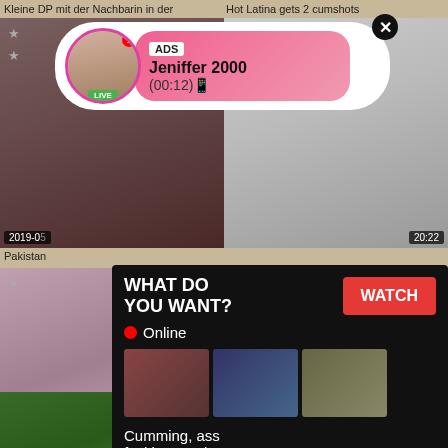Kleine DP mit der Nachbarin in der
Hot Latina gets 2 cumshots
[Figure (screenshot): Ad overlay bubble with avatar of woman, LIVE badge, ADS tag, name Jeniffer 2000, time (00:12), close button]
[Figure (screenshot): Video thumbnail of woman, date 2019-0x overlay]
[Figure (screenshot): Popup ad: WHAT DO YOU WANT? with WATCH button, Online indicator, three mini thumbnails, text Cumming ass fucking squirt or... ADS]
[Figure (screenshot): Video thumbnail right side date 20:22]
Pakistan
[Figure (screenshot): Amateur video thumbnail 2021-01-03 14:04]
Amateur cute pretty teen fingering and
[Figure (screenshot): Japanese amateur homemade video thumbnail 2021-03-05 11:13]
japanese amateur homemade.766
[Figure (screenshot): Outdoor couple video thumbnail bottom left]
[Figure (screenshot): Blonde woman video thumbnail bottom right]